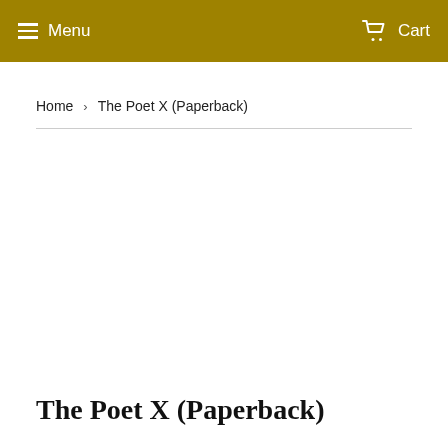Menu  Cart
Home › The Poet X (Paperback)
The Poet X (Paperback)